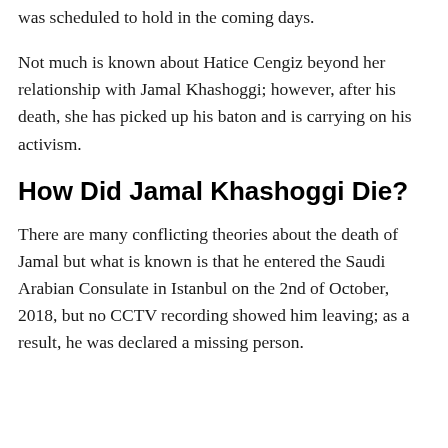was scheduled to hold in the coming days.
Not much is known about Hatice Cengiz beyond her relationship with Jamal Khashoggi; however, after his death, she has picked up his baton and is carrying on his activism.
How Did Jamal Khashoggi Die?
There are many conflicting theories about the death of Jamal but what is known is that he entered the Saudi Arabian Consulate in Istanbul on the 2nd of October, 2018, but no CCTV recording showed him leaving; as a result, he was declared a missing person.